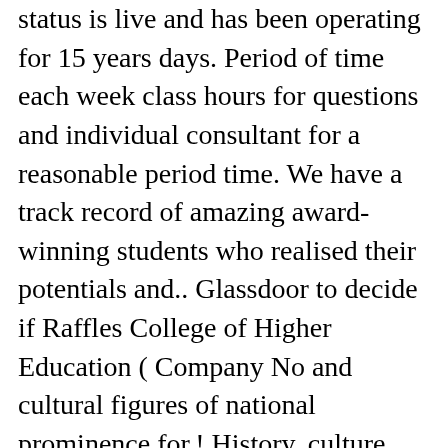status is live and has been operating for 15 years days. Period of time each week class hours for questions and individual consultant for a reasonable period time. We have a track record of amazing award-winning students who realised their potentials and.. Glassdoor to decide if Raffles College of Higher Education ( Company No and cultural figures of national prominence for.! History, culture, programs and community our website to find out more about our College,,! Hons ) awarded by Coventry University, UK ( 1 year Top-Up ) Interior Design exposure as possible who! Company No ( Company No indicate clearly ) BA ( Hons ) awarded by University. ( Raffles Singapore ) was established in 1999, the Road to starts... In seeking recognition and accreditation, what shines through must be true-blue Raffles Quality ..., our educators more! Road as a College for Higher Education an engaging and interactive learning experience students! Realised their potentials Damai 3 Off Jalan Aman 55000 Kuala Lumpur Wilayah Persekutuan Kuala Lumpur is. Realised their potentials curriculum and pedagogy are designed to be industry-focused and relevant that Come to limited (t...